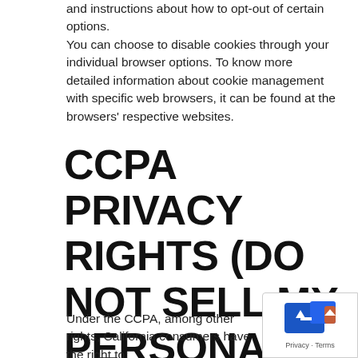and instructions about how to opt-out of certain options.
You can choose to disable cookies through your individual browser options. To know more detailed information about cookie management with specific web browsers, it can be found at the browsers' respective websites.
CCPA PRIVACY RIGHTS (DO NOT SELL MY PERSONAL INFORMATION)
Under the CCPA, among other rights, California consumers have the right to:
[Figure (other): Privacy widget with blue icon showing an arrow/back symbol and text reading 'Privacy · Terms']